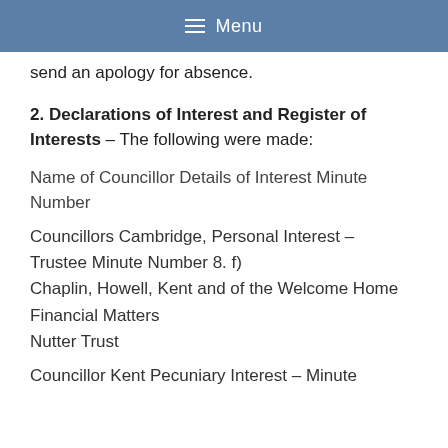≡ Menu
send an apology for absence.
2. Declarations of Interest and Register of Interests – The following were made:
Name of Councillor Details of Interest Minute Number
Councillors Cambridge, Personal Interest – Trustee Minute Number 8. f)
Chaplin, Howell, Kent and of the Welcome Home Financial Matters
Nutter Trust
Councillor Kent Pecuniary Interest – Minute